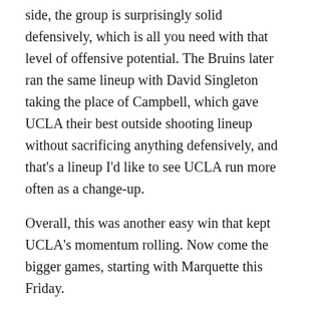side, the group is surprisingly solid defensively, which is all you need with that level of offensive potential. The Bruins later ran the same lineup with David Singleton taking the place of Campbell, which gave UCLA their best outside shooting lineup without sacrificing anything defensively, and that's a lineup I'd like to see UCLA run more often as a change-up.
Overall, this was another easy win that kept UCLA's momentum rolling. Now come the bigger games, starting with Marquette this Friday.
Jaime Jaquez Jr. led the Bruins with 17 points. Cody Riley and Jaylen Hill tied for the team lead in rebounds with 10, while Tyger Campbell led the team with five assists. Joey Calcaterra led the Toreros with 18 points.